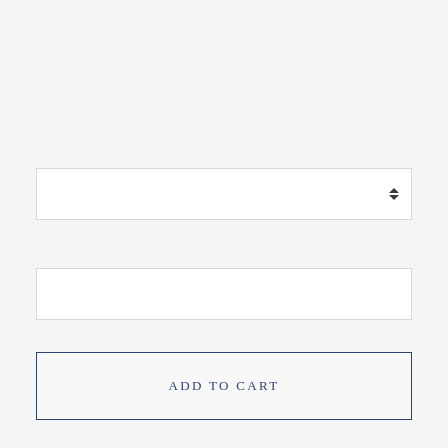[Figure (other): A dropdown/select input field with up-down arrow indicator on the right side]
[Figure (other): A text input field, empty]
ADD TO CART